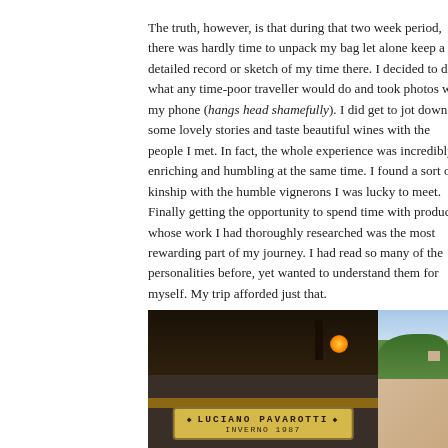The truth, however, is that during that two week period, there was hardly time to unpack my bag let alone keep a detailed record or sketch of my time there. I decided to do what any time-poor traveller would do and took photos with my phone (hangs head shamefully). I did get to jot down some lovely stories and taste beautiful wines with the people I met. In fact, the whole experience was incredibly enriching and humbling at the same time. I found a sort of kinship with the humble vignerons I was lucky to meet. Finally getting the opportunity to spend time with producers whose work I had thoroughly researched was the most rewarding part of my journey. I had read so many of the personalities before, yet wanted to understand them for myself. My trip afforded just that.

I intend to gradually trickle through the stories I recorded. In the meantime, here's a small album depicting my time in Italy and where the three weeks took me.
[Figure (photo): Photo of a restaurant or cellar setting with a Luciano Pavarotti Inverno 1987 barrel/wine label sign on a wooden plank, people visible in the dark background with amber candlelight]
[Figure (photo): Photo of Italian hillside landscape with green hills and a building/house visible]
[Figure (photo): Photo of a person, partially visible at bottom right]